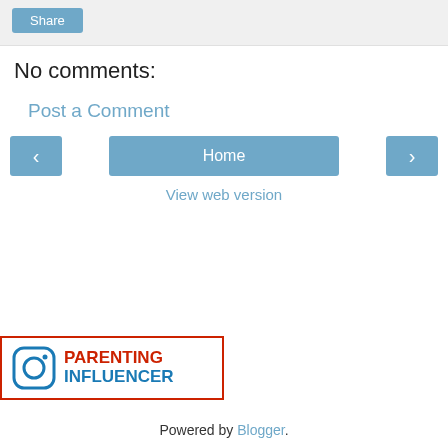[Figure (screenshot): Share button in grey bar]
No comments:
Post a Comment
[Figure (screenshot): Navigation row with left arrow, Home button, right arrow]
View web version
[Figure (logo): Parenting Influencer logo with Instagram icon, red and blue text, red border]
Powered by Blogger.